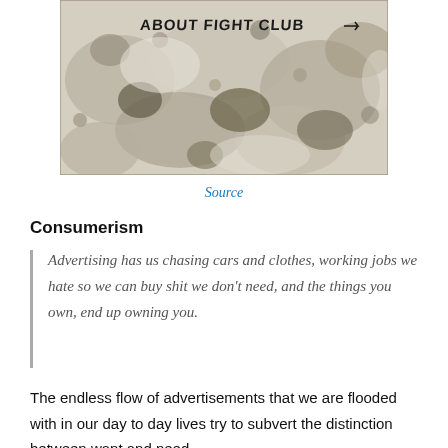[Figure (photo): A weathered stone or concrete surface with graffiti text reading 'ABOUT FIGHT CLUB' written in black marker at the top.]
Source
Consumerism
Advertising has us chasing cars and clothes, working jobs we hate so we can buy shit we don't need, and the things you own, end up owning you.
The endless flow of advertisements that we are flooded with in our day to day lives try to subvert the distinction between want and need.